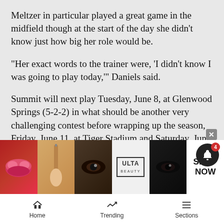Meltzer in particular played a great game in the midfield though at the start of the day she didn’t know just how big her role would be.
“Her exact words to the trainer were, ‘I didn’t know I was going to play today,’” Daniels said.
Summit will next play Tuesday, June 8, at Glenwood Springs (5-2-2) in what should be another very challenging contest before wrapping up the season, Friday, June 11, at Tiger Stadium and Saturday, June 12, with home matches versus Palisade (11 a.m.) and Steamboat Springs (11 a.m.).
“We got through the thick part of the season, but finishing this... [advertisement overlaps text] ...els said. “...
[Figure (screenshot): Ulta Beauty advertisement banner showing lip makeup, brush, eye, ULTA logo, eyes, and SHOP NOW text]
Home   Trending   Sections